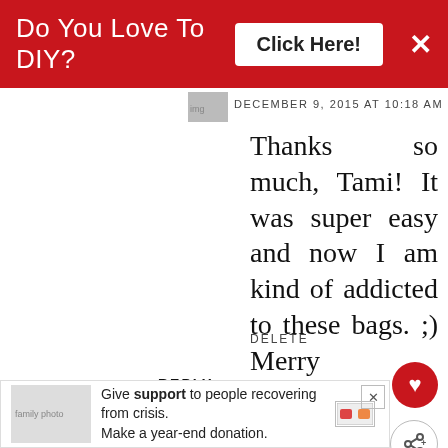[Figure (screenshot): Red banner advertisement: 'Do You Love To DIY? Click Here!' with X close button]
DECEMBER 9, 2015 AT 10:18 AM
Thanks so much, Tami! It was super easy and now I am kind of addicted to these bags. ;) Merry Christmas!
DELETE
REPLY
Marilyn @ MountainTopSpice
DECEMBER 9, 2015 AT 1:12 AM
A really amazing craft, and you
[Figure (screenshot): What's Next widget showing Gift Bag Christmas...]
[Figure (screenshot): Bottom advertisement: Give support to people recovering from crisis. Make a year-end donation.]